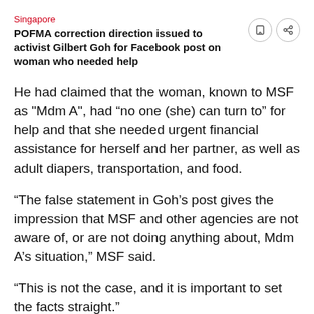Singapore
POFMA correction direction issued to activist Gilbert Goh for Facebook post on woman who needed help
He had claimed that the woman, known to MSF as "Mdm A", had “no one (she) can turn to” for help and that she needed urgent financial assistance for herself and her partner, as well as adult diapers, transportation, and food.
"The false statement in Goh’s post gives the impression that MSF and other agencies are not aware of, or are not doing anything about, Mdm A’s situation," MSF said.
"This is not the case, and it is important to set the facts straight."